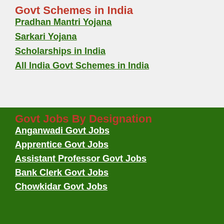Govt Schemes in India
Pradhan Mantri Yojana
Sarkari Yojana
Scholarships in India
All India Govt Schemes in India
Govt Jobs By Designation
Anganwadi Govt Jobs
Apprentice Govt Jobs
Assistant Professor Govt Jobs
Bank Clerk Govt Jobs
Chowkidar Govt Jobs